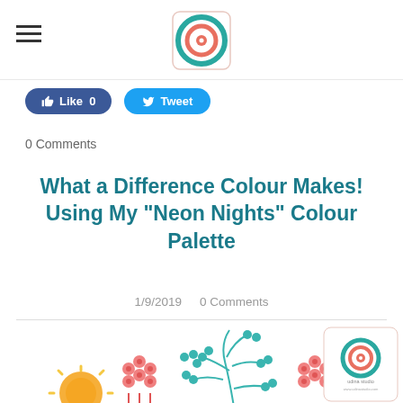Navigation and logo header
[Figure (logo): Circular logo with concentric rings, coral and teal colors, rounded square border]
Like 0
Tweet
0 Comments
What a Difference Colour Makes! Using My "Neon Nights" Colour Palette
1/9/2019  0 Comments
[Figure (illustration): Garden scene illustration with teal berry branches, coral/pink flower clusters, a yellow sun, and a small logo watermark. Colorful flat design floral pattern.]